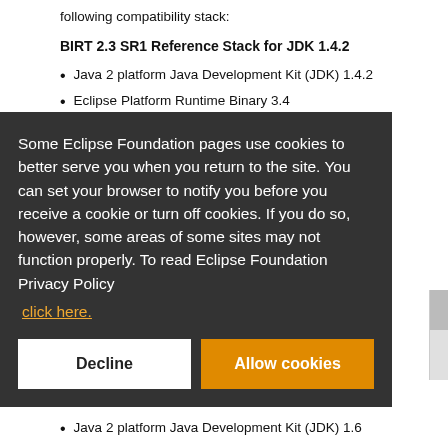following compatibility stack:
BIRT 2.3 SR1 Reference Stack for JDK 1.4.2
Java 2 platform Java Development Kit (JDK) 1.4.2
Eclipse Platform Runtime Binary 3.4
Graphical Editor Framework (GEF) Runtime 3.2
Some Eclipse Foundation pages use cookies to better serve you when you return to the site. You can set your browser to notify you before you receive a cookie or turn off cookies. If you do so, however, some areas of some sites may not function properly. To read Eclipse Foundation Privacy Policy
click here.
Decline
Allow cookies
Java 2 platform Java Development Kit (JDK) 1.6